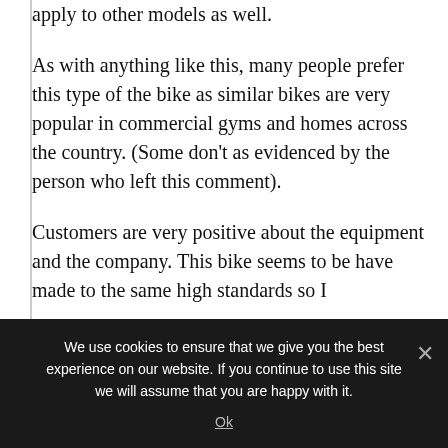apply to other models as well.
As with anything like this, many people prefer this type of the bike as similar bikes are very popular in commercial gyms and homes across the country. (Some don’t as evidenced by the person who left this comment).
Customers are very positive about the equipment and the company. This bike seems to be have made to the same high standards so I
We use cookies to ensure that we give you the best experience on our website. If you continue to use this site we will assume that you are happy with it.
Ok